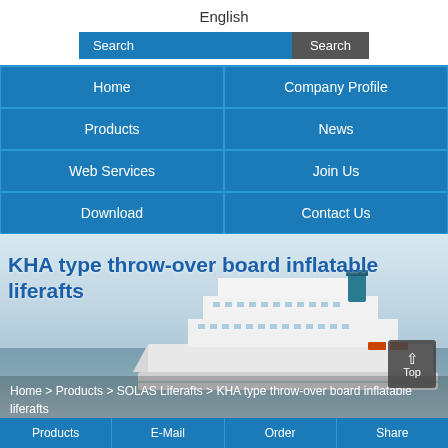English
Search | Search
| Home | Company Profile |
| --- | --- |
| Products | News |
| Web Services | Join Us |
| Download | Contact Us |
[Figure (photo): Large white cruise ship / ferry at sea with blue sky and clouds in the background]
KHA type throw-over board inflatable liferafts
Home > Products > SOLAS Liferafts > KHA type throw-over board inflatable liferafts
Products | E-Mail | Order | Share